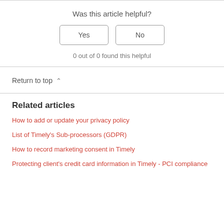Was this article helpful?
Yes
No
0 out of 0 found this helpful
Return to top ∧
Related articles
How to add or update your privacy policy
List of Timely's Sub-processors (GDPR)
How to record marketing consent in Timely
Protecting client's credit card information in Timely - PCI compliance